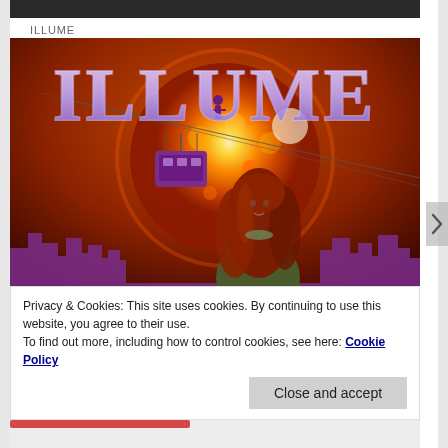[Figure (photo): Thin dark strip at top — cropped top of an image]
ILLUME
[Figure (photo): Book cover for ILLUME: orange/fiery sun background with purple city skyline silhouette, a woman with red hair in foreground, large ILLUME text overlaid, cable car/gondola visible upper left]
Privacy & Cookies: This site uses cookies. By continuing to use this website, you agree to their use.
To find out more, including how to control cookies, see here: Cookie Policy
Close and accept